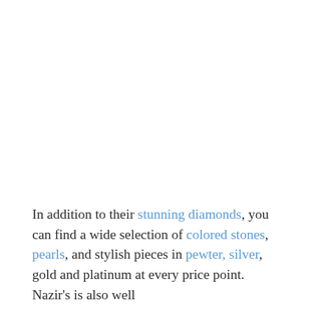In addition to their stunning diamonds, you can find a wide selection of colored stones, pearls, and stylish pieces in pewter, silver, gold and platinum at every price point. Nazir's is also well